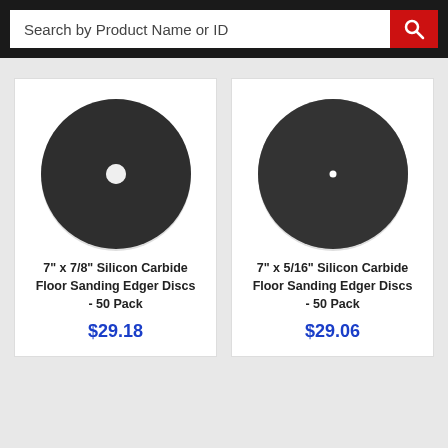Search by Product Name or ID
[Figure (photo): Dark circular floor sanding edger disc with large center hole, view from above on white background]
7" x 7/8" Silicon Carbide Floor Sanding Edger Discs - 50 Pack
$29.18
[Figure (photo): Dark circular floor sanding edger disc with small center hole, view from above on white background]
7" x 5/16" Silicon Carbide Floor Sanding Edger Discs - 50 Pack
$29.06